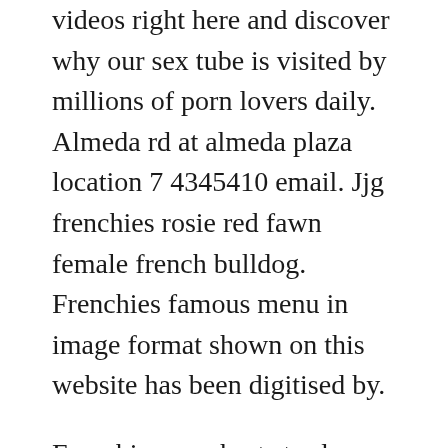videos right here and discover why our sex tube is visited by millions of porn lovers daily. Almeda rd at almeda plaza location 7 4345410 email. Jjg frenchies rosie red fawn female french bulldog. Frenchies famous menu in image format shown on this website has been digitised by.
Frenchies are short sturdy dogs with outsized bat like ears, flat faces and noses similar to that of a pug. All frenchies are of the akc breed standard and the many wins they get in the show ring proves i adhere very well to the breed standard. Australian rules footballs